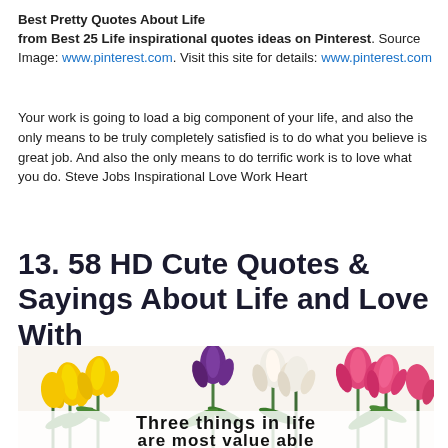Best Pretty Quotes About Life
from Best 25 Life inspirational quotes ideas on Pinterest. Source Image: www.pinterest.com. Visit this site for details: www.pinterest.com
Your work is going to load a big component of your life, and also the only means to be truly completely satisfied is to do what you believe is great job. And also the only means to do terrific work is to love what you do. Steve Jobs Inspirational Love Work Heart
13. 58 HD Cute Quotes & Sayings About Life and Love With
[Figure (photo): Colorful tulips (yellow, purple, white, pink) arranged on a white background with the beginning text 'Three things in life are most value able' in a handwritten black font overlaid on the lower portion of the image.]